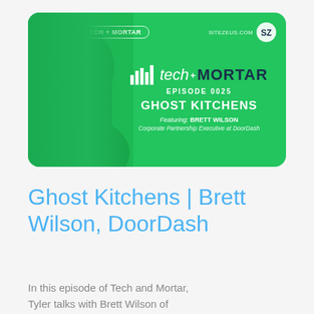[Figure (illustration): Podcast episode card with green background, Tech+ Mortar logo with bar chart icon, Episode 0025, Ghost Kitchens, featuring Brett Wilson, Corporate Partnership Executive at DoorDash, with green-tinted face silhouette on left side]
Ghost Kitchens | Brett Wilson, DoorDash
In this episode of Tech and Mortar, Tyler talks with Brett Wilson of